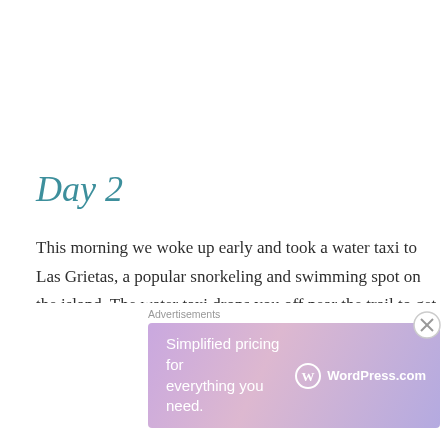Day 2
This morning we woke up early and took a water taxi to Las Grietas, a popular snorkeling and swimming spot on the island. The water taxi drops you off near the trail to get there and you walk past Germany Beach and through a wetland to get there. It is a huge crack in the earth filled with water. The pool is deep and you can swim to the end it
Advertisements
[Figure (screenshot): WordPress.com advertisement banner with gradient purple/pink background. Text reads 'Simplified pricing for everything you need.' with WordPress.com logo on the right.]